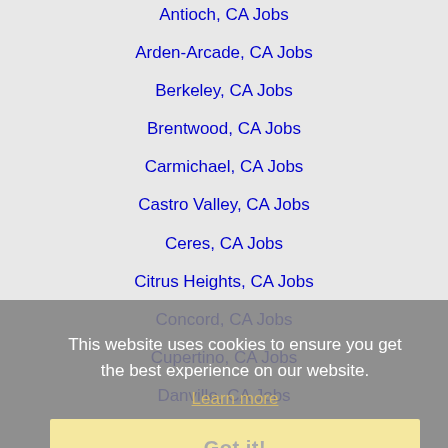Antioch, CA Jobs
Arden-Arcade, CA Jobs
Berkeley, CA Jobs
Brentwood, CA Jobs
Carmichael, CA Jobs
Castro Valley, CA Jobs
Ceres, CA Jobs
Citrus Heights, CA Jobs
Concord, CA Jobs
Cupertino, CA Jobs
Danville, CA Jobs
Davis, CA Jobs
Dublin, CA Jobs
Elk Grove, CA Jobs
Fairfield, CA Jobs
Folsom, CA Jobs
Fremont, CA Jobs
Gilroy, CA Jobs
Hayward, CA Jobs
This website uses cookies to ensure you get the best experience on our website. Learn more Got it!